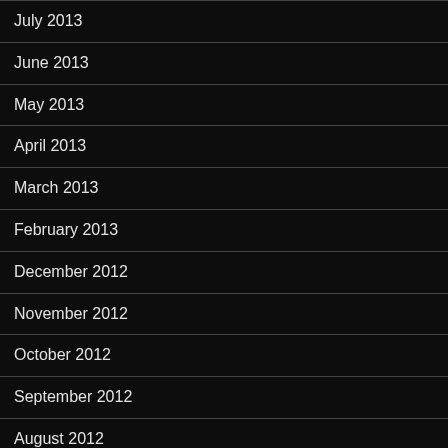July 2013
June 2013
May 2013
April 2013
March 2013
February 2013
December 2012
November 2012
October 2012
September 2012
August 2012
July 2012